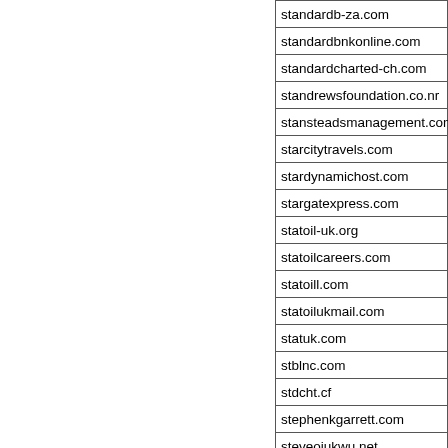| Domain |
| --- |
| standardb-za.com |
| standardbnkonline.com |
| standardcharted-ch.com |
| standrewsfoundation.co.nr |
| stansteadsmanagement.com |
| starcitytravels.com |
| stardynamichost.com |
| stargatexpress.com |
| statoil-uk.org |
| statoilcareers.com |
| statoill.com |
| statoilukmail.com |
| statuk.com |
| stblnc.com |
| stdcht.cf |
| stephenkgarrett.com |
| steveojukwu.net |
| strongbridgeconsults.com |
| stwallonline.cf |